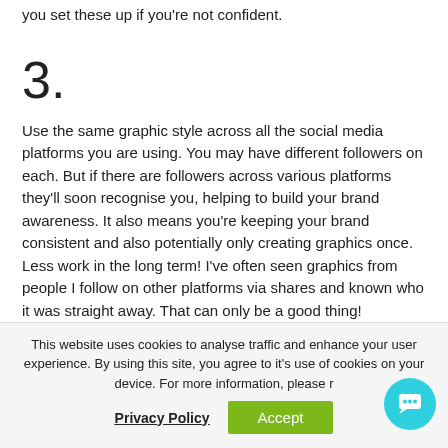you set these up if you're not confident.
3.
Use the same graphic style across all the social media platforms you are using. You may have different followers on each. But if there are followers across various platforms they'll soon recognise you, helping to build your brand awareness. It also means you're keeping your brand consistent and also potentially only creating graphics once. Less work in the long term! I've often seen graphics from people I follow on other platforms via shares and known who it was straight away. That can only be a good thing!
This website uses cookies to analyse traffic and enhance your user experience. By using this site, you agree to it's use of cookies on your device. For more information, please r
Privacy Policy
Accept